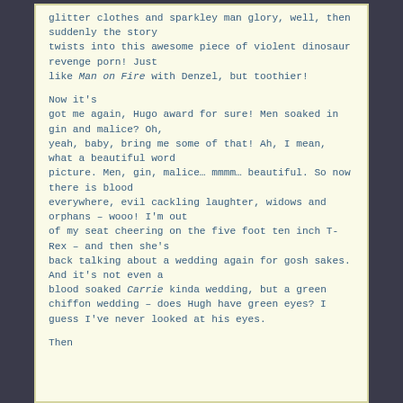glitter clothes and sparkley man glory, well, then suddenly the story twists into this awesome piece of violent dinosaur revenge porn! Just like Man on Fire with Denzel, but toothier!

Now it's got me again, Hugo award for sure! Men soaked in gin and malice? Oh, yeah, baby, bring me some of that! Ah, I mean, what a beautiful word picture. Men, gin, malice… mmmm… beautiful. So now there is blood everywhere, evil cackling laughter, widows and orphans – wooo! I'm out of my seat cheering on the five foot ten inch T-Rex – and then she's back talking about a wedding again for gosh sakes. And it's not even a blood soaked Carrie kinda wedding, but a green chiffon wedding – does Hugh have green eyes? I guess I've never looked at his eyes.

Then